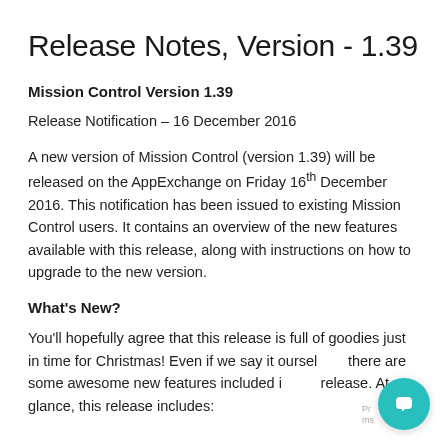Release Notes, Version - 1.39
Mission Control Version 1.39
Release Notification – 16 December 2016
A new version of Mission Control (version 1.39) will be released on the AppExchange on Friday 16th December 2016. This notification has been issued to existing Mission Control users. It contains an overview of the new features available with this release, along with instructions on how to upgrade to the new version.
What's New?
You'll hopefully agree that this release is full of goodies just in time for Christmas! Even if we say it ourselves, there are some awesome new features included in this release. At a glance, this release includes: